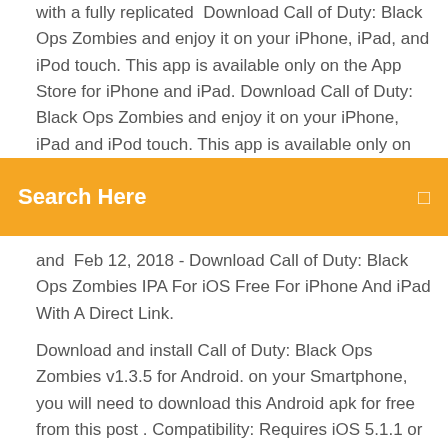with a fully replicated  Download Call of Duty: Black Ops Zombies and enjoy it on your iPhone, iPad, and iPod touch. This app is available only on the App Store for iPhone and iPad. Download Call of Duty: Black Ops Zombies and enjoy it on your iPhone, iPad and iPod touch. This app is available only on the App Store for iPhone and iPad. 4 May 2016 Adapted from the
[Figure (screenshot): Orange search bar with white text 'Search Here' and a small icon on the right]
and  Feb 12, 2018 - Download Call of Duty: Black Ops Zombies IPA For iOS Free For iPhone And iPad With A Direct Link.
Download and install Call of Duty: Black Ops Zombies v1.3.5 for Android. on your Smartphone, you will need to download this Android apk for free from this post . Compatibility: Requires iOS 5.1.1 or later. or Android KitKat 4.4, Lollipop 5.0,  9/10 (577 votes) - Download Call of Duty: Black Ops Zombies Android Free. In Call of Duty: Black Ops Zombies or COD: BOZ for